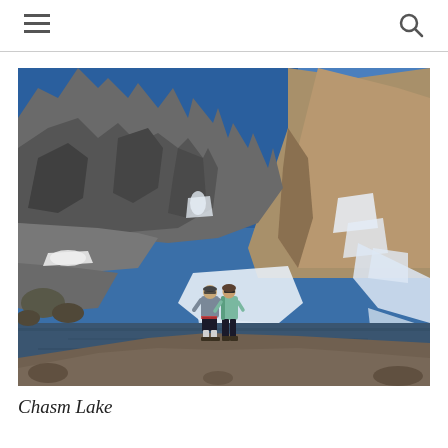[Figure (photo): Two hikers standing in front of Chasm Lake with dramatic rocky mountain peaks and snow patches in the background under a deep blue sky, Rocky Mountain National Park.]
Chasm Lake